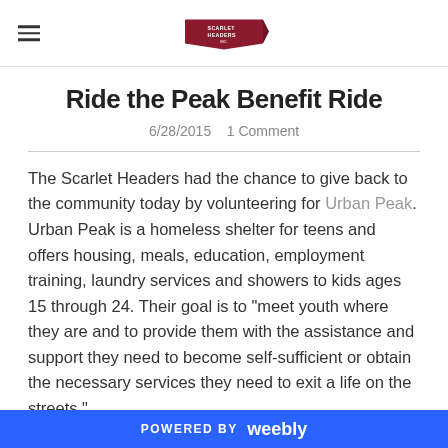Scarlet Headers logo with hamburger menu
Ride the Peak Benefit Ride
6/28/2015   1 Comment
The Scarlet Headers had the chance to give back to the community today by volunteering for Urban Peak. Urban Peak is a homeless shelter for teens and offers housing, meals, education, employment training, laundry services and showers to kids ages 15 through 24. Their goal is to "meet youth where they are and to provide them with the assistance and support they need to become self-sufficient or obtain the necessary services they need to exit a life on the streets."

With the help of Erico Motorsports we made breakfast and
POWERED BY weebly